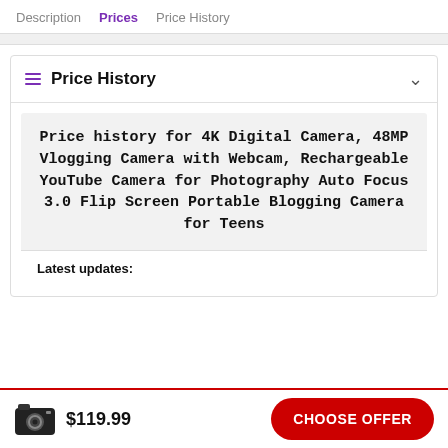Description   Prices   Price History
≡  Price History
Price history for 4K Digital Camera, 48MP Vlogging Camera with Webcam, Rechargeable YouTube Camera for Photography Auto Focus 3.0 Flip Screen Portable Blogging Camera for Teens
Latest updates:
$119.99   CHOOSE OFFER